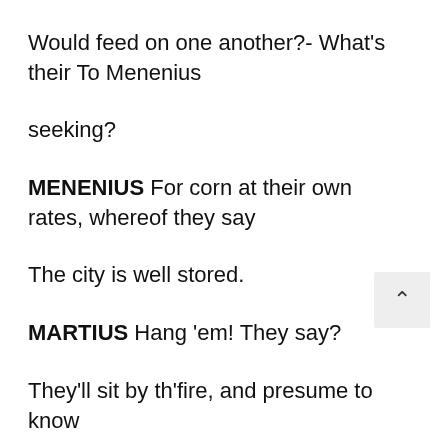Would feed on one another?- What's their To Menenius
seeking?
MENENIUS For corn at their own rates, whereof they say
The city is well stored.
MARTIUS Hang 'em! They say?
They'll sit by th'fire, and presume to know
What's done i'th'Capitol: who's like to rise,
Who thrives and who declines: side factions and give out